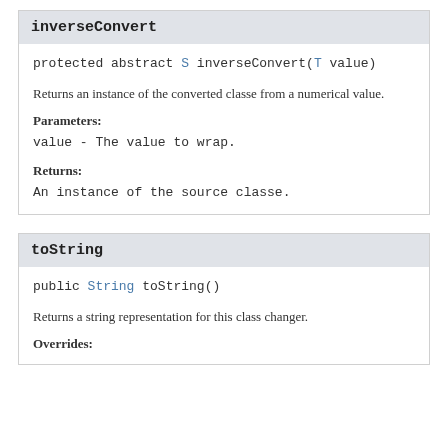inverseConvert
protected abstract S inverseConvert(T value)
Returns an instance of the converted classe from a numerical value.
Parameters:
value - The value to wrap.
Returns:
An instance of the source classe.
toString
public String toString()
Returns a string representation for this class changer.
Overrides: